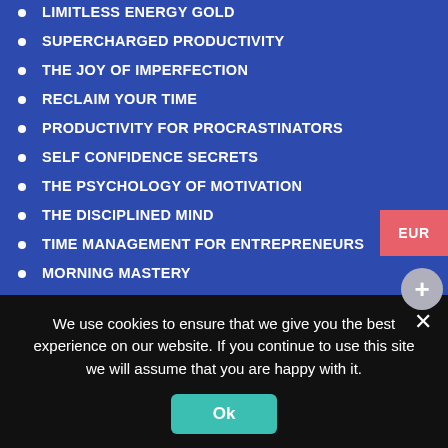LIMITLESS ENERGY GOLD
SUPERCHARGED PRODUCTIVITY
THE JOY OF IMPERFECTION
RECLAIM YOUR TIME
PRODUCTIVITY FOR PROCRASTINATORS
SELF CONFIDENCE SECRETS
THE PSYCHOLOGY OF MOTIVATION
THE DISCIPLINED MIND
TIME MANAGEMENT FOR ENTREPRENEURS
MORNING MASTERY
THE CALM MIND
RELENTLESS OPTIMISM
BOOST YOUR PRODUCTIVITY
GOAL SETTING TO LIVE A LIFE OF FREEDOM
THE POWER OF DISCIPLINE
PEAK PRODUCTIVITY
GAIN MENTAL CLARITY – VIDEO COURSE AND E-BOOK
We use cookies to ensure that we give you the best experience on our website. If you continue to use this site we will assume that you are happy with it.